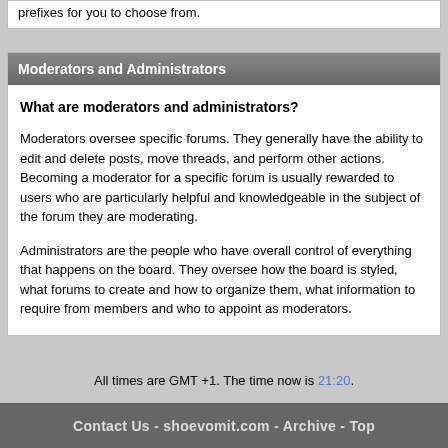prefixes for you to choose from.
Moderators and Administrators
What are moderators and administrators?
Moderators oversee specific forums. They generally have the ability to edit and delete posts, move threads, and perform other actions. Becoming a moderator for a specific forum is usually rewarded to users who are particularly helpful and knowledgeable in the subject of the forum they are moderating.
Administrators are the people who have overall control of everything that happens on the board. They oversee how the board is styled, what forums to create and how to organize them, what information to require from members and who to appoint as moderators.
All times are GMT +1. The time now is 21:20.
Contact Us - shoevomit.com - Archive - Top